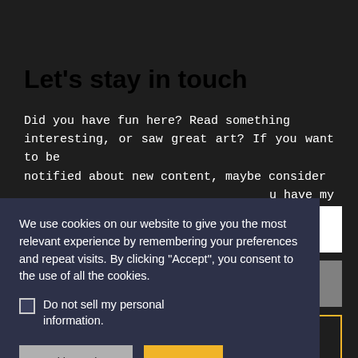Let's stay in touch
Did you have fun here? Read something interesting, or saw great art? If you want to be notified about new content, maybe consider ... u have my
We use cookies on our website to give you the most relevant experience by remembering your preferences and repeat visits. By clicking "Accept", you consent to the use of all the cookies.
Do not sell my personal information.
Cookie Settings
Accept